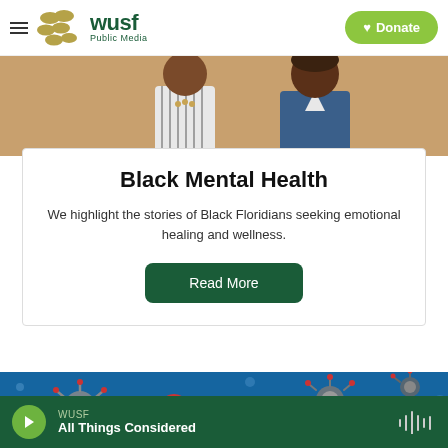WUSF Public Media — Donate
[Figure (illustration): Illustrated cropped figures of two people, one in a striped shirt and one in a blue jacket, against a tan/brown background]
Black Mental Health
We highlight the stories of Black Floridians seeking emotional healing and wellness.
Read More
[Figure (illustration): Blue background with illustrated coronavirus/COVID-19 particles in red and gray]
WUSF — All Things Considered